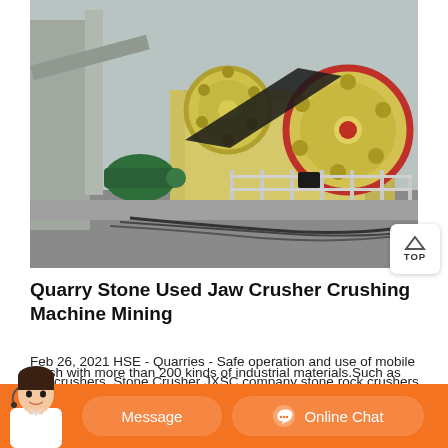[Figure (photo): Photograph of a quarry stone jaw crusher machine — a large industrial yellow crusher with two circular flywheels (one red-rimmed, one smaller), a belt drive, green motor, on a concrete platform with metal railings and cables, outdoors]
Quarry Stone Used Jaw Crusher Crushing Machine Mining
Feb 26, 2021 HSE - Quarries - Safe operation and use of mobile jaw crushers. Stone Crusher JXSC company stone rock crushers include
crush with more than 200 kinds of industrial materials.Such as